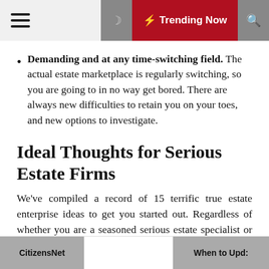☰  ☽  ⚡ Trending Now  🔍
Demanding and at any time-switching field. The actual estate marketplace is regularly switching, so you are going to in no way get bored. There are always new difficulties to retain you on your toes, and new options to investigate.
Ideal Thoughts for Serious Estate Firms
We've compiled a record of 15 terrific true estate enterprise ideas to get you started out. Regardless of whether you are a seasoned serious estate specialist or new to the genuine estate market, you are positive to discover one thing that piques your curiosity.
CitizensNet   When to Upd: